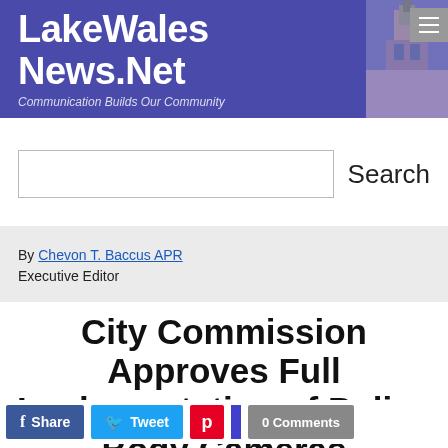[Figure (screenshot): LakeWalesNews.Net website header banner with purple background, site title, tagline 'Communication Builds Our Community', and a church tower image on the right. A hamburger menu icon is visible in the top-right corner.]
Search
By Chevon T. Baccus APR
Executive Editor
City Commission Approves Full Implementation of Police Body Cameras
Share  Tweet  0 Comments